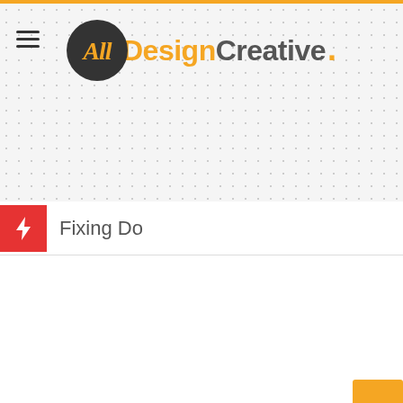[Figure (logo): AllDesignCreative logo: dark circle with italic 'All' in orange script on left, 'Design' in orange bold and 'Creative' in gray bold on right, with orange period. Hamburger menu icon (three horizontal lines) to the left. Background is a dot-grid pattern on light gray.]
Fixing Do